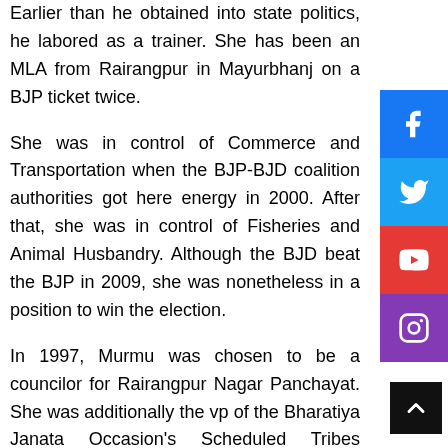Earlier than he obtained into state politics, he labored as a trainer. She has been an MLA from Rairangpur in Mayurbhanj on a BJP ticket twice.
She was in control of Commerce and Transportation when the BJP-BJD coalition authorities got here energy in 2000. After that, she was in control of Fisheries and Animal Husbandry. Although the BJD beat the BJP in 2009, she was nonetheless in a position to win the election.
In 1997, Murmu was chosen to be a councilor for Rairangpur Nagar Panchayat. She was additionally the vp of the Bharatiya Janata Occasion's Scheduled Tribes Morcha.
Draupadi Murmu Age, How